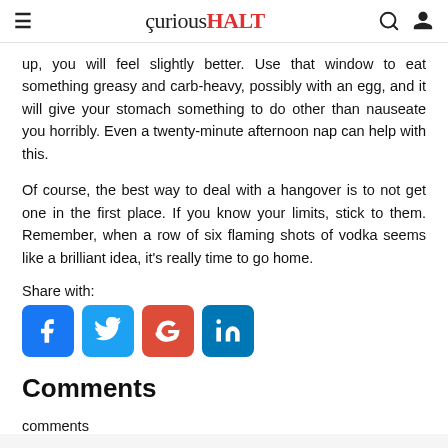curiousHALT
up, you will feel slightly better. Use that window to eat something greasy and carb-heavy, possibly with an egg, and it will give your stomach something to do other than nauseate you horribly. Even a twenty-minute afternoon nap can help with this.
Of course, the best way to deal with a hangover is to not get one in the first place. If you know your limits, stick to them. Remember, when a row of six flaming shots of vodka seems like a brilliant idea, it's really time to go home.
Share with:
[Figure (infographic): Social share buttons: Facebook, Twitter, Google, LinkedIn]
Comments
comments